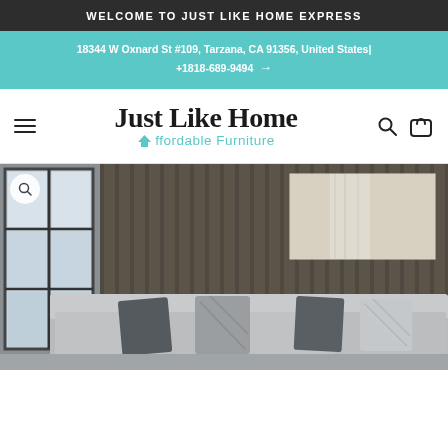WELCOME TO JUST LIKE HOME EXPRESS
18344 W Oxnard St #109, Tarzana, CA 91356, United States| +1818-689-9494 →
[Figure (logo): Just Like Home Affordable Furniture logo with hamburger menu, search icon, and cart icon]
[Figure (photo): Living room product photo showing a grey sectional sofa with dark grey and patterned throw pillows, in front of a dark slatted wood accent wall with an abstract canvas painting, and large windows]